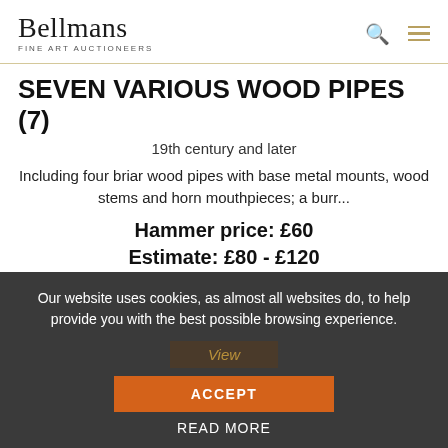Bellmans Fine Art Auctioneers
SEVEN VARIOUS WOOD PIPES (7)
19th century and later
Including four briar wood pipes with base metal mounts, wood stems and horn mouthpieces; a burr...
Hammer price: £60
Estimate: £80 - £120
27 May 2021
Our website uses cookies, as almost all websites do, to help provide you with the best possible browsing experience.
ACCEPT
READ MORE